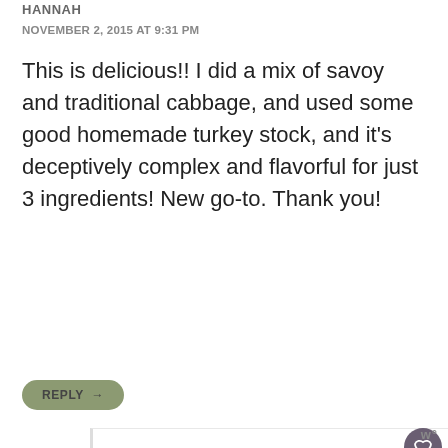HANNAH
NOVEMBER 2, 2015 AT 9:31 PM
This is delicious!! I did a mix of savoy and traditional cabbage, and used some good homemade turkey stock, and it's deceptively complex and flavorful for just 3 ingredients! New go-to. Thank you!
REPLY →
LYNNE WEBB
NOVEMBER 3, 2015 AT 3:48 PM
[Figure (screenshot): Purple advertisement banner reading MAKE A FRIEND with a dog image and heart icons, with an X close button]